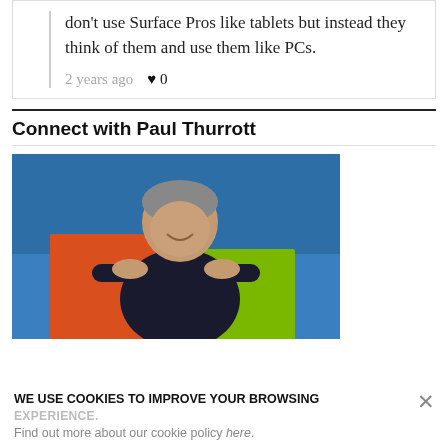don't use Surface Pros like tablets but instead they think of them and use them like PCs.
2 years ago  ♥ 0
Connect with Paul Thurrott
[Figure (photo): Photo of a man (Paul Thurrott) leaning on two large colored panels — one orange and one green — against a blue background]
WE USE COOKIES TO IMPROVE YOUR BROWSING EXPERIENCE. Find out more about our cookie policy here.